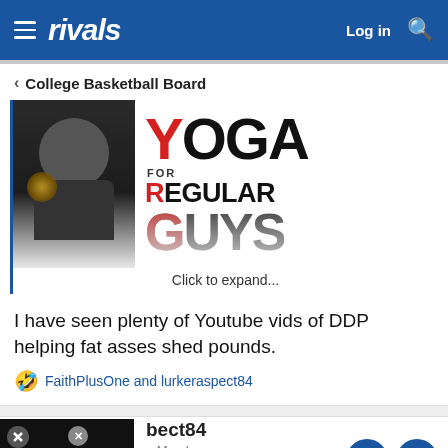rivals — Log in
< College Basketball Board
[Figure (photo): Advertisement image for 'Yoga for Regular Guys' showing a muscular man in a black tank top with the text YOGA FOR REGULAR GUYS]
Click to expand...
I have seen plenty of Youtube vids of DDP helping fat asses shed pounds.
🤣 FaithPlusOne and lurkeraspect84
bect84 — n Member
The media could not be loaded.